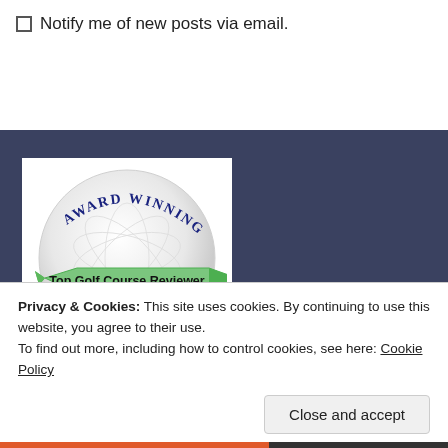Notify me of new posts via email.
[Figure (logo): Award Winning Top Golf Course Reviewer Golf-Top18 badge on a golf ball with green ribbon banner]
Privacy & Cookies: This site uses cookies. By continuing to use this website, you agree to their use.
To find out more, including how to control cookies, see here: Cookie Policy
Close and accept